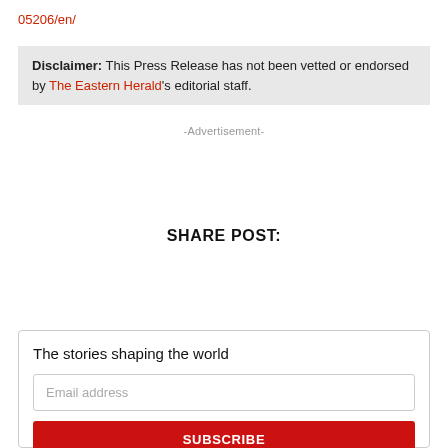05206/en/
Disclaimer: This Press Release has not been vetted or endorsed by The Eastern Herald's editorial staff.
-Advertisement-
SHARE POST:
The stories shaping the world
Email address